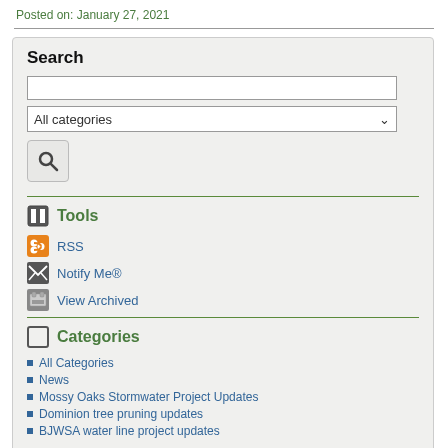Posted on: January 27, 2021
Search
All categories
Tools
RSS
Notify Me®
View Archived
Categories
All Categories
News
Mossy Oaks Stormwater Project Updates
Dominion tree pruning updates
BJWSA water line project updates